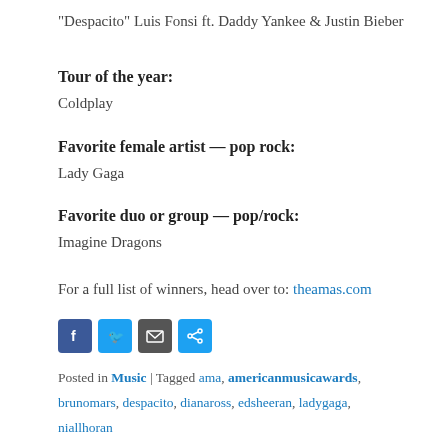“Despacito” Luis Fonsi ft. Daddy Yankee & Justin Bieber
Tour of the year:
Coldplay
Favorite female artist — pop rock:
Lady Gaga
Favorite duo or group — pop/rock:
Imagine Dragons
For a full list of winners, head over to: theamas.com
[Figure (other): Social sharing buttons: Facebook, Twitter, Email, Share]
Posted in Music | Tagged ama, americanmusicawards, brunomars, despacito, dianaross, edsheeran, ladygaga, niallhoran
RECENT
[Figure (photo): Thumbnail image showing two people silhouetted against a colorful background]